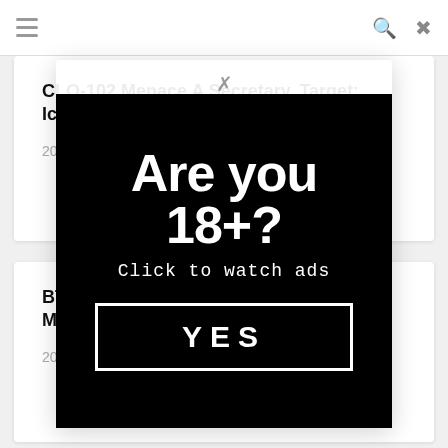≡  🔍  ✕
CLO-102 Menace A Secretary. Target: Ichika. Ichika Kamihata
2020-11-27
BTH-... Will Find... Miyas...
2020-...
[Figure (infographic): Age verification modal popup with black background. Large bold white text reads 'Are you 18+?' with subtext 'Click to watch ads' and a bordered YES button. A close (×) button appears at the top of the modal.]